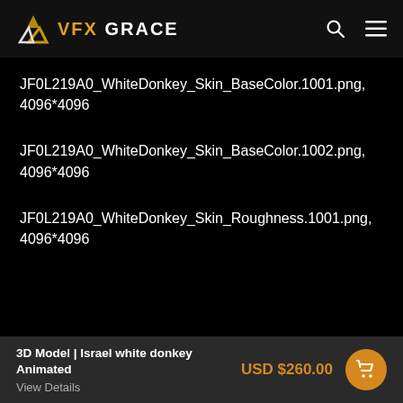VFX GRACE
JF0L219A0_WhiteDonkey_Skin_BaseColor.1001.png, 4096*4096
JF0L219A0_WhiteDonkey_Skin_BaseColor.1002.png, 4096*4096
JF0L219A0_WhiteDonkey_Skin_Roughness.1001.png, 4096*4096
3D Model | Israel white donkey Animated  USD $260.00  View Details